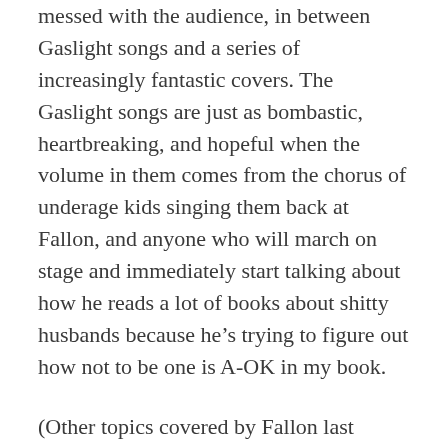messed with the audience, in between Gaslight songs and a series of increasingly fantastic covers. The Gaslight songs are just as bombastic, heartbreaking, and hopeful when the volume in them comes from the chorus of underage kids singing them back at Fallon, and anyone who will march on stage and immediately start talking about how he reads a lot of books about shitty husbands because he's trying to figure out how not to be one is A-OK in my book.
(Other topics covered by Fallon last evening: Gaslight's Swedish booking agent; how he might get kidnapped if they play in Brazil; Jersey Shores and how it's offensive to him; why he can't cover "Land Down Under" because "that one part, you know what part I mean" is too high for him, complete with demonstration; Eli Manning's sexuality; the couple in the front row who he decided